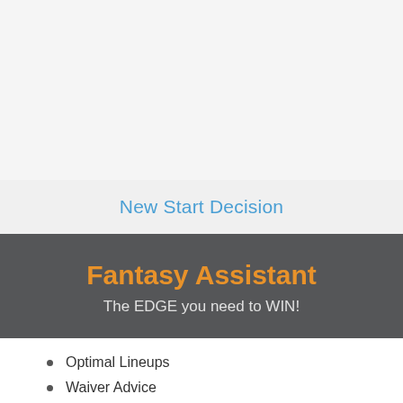New Start Decision
Fantasy Assistant
The EDGE you need to WIN!
Optimal Lineups
Waiver Advice
Trade Suggestions &